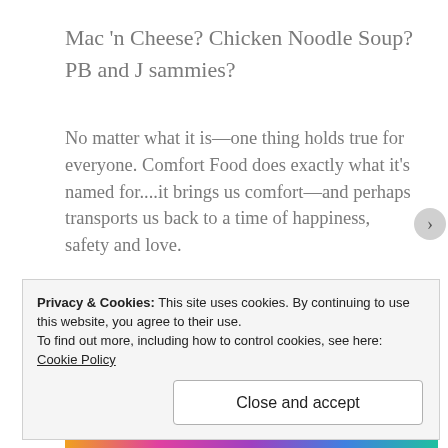Mac 'n Cheese? Chicken Noodle Soup? PB and J sammies?
No matter what it is—one thing holds true for everyone. Comfort Food does exactly what it's named for....it brings us comfort—and perhaps transports us back to a time of happiness, safety and love.
And for me, that is what Vietnamese food is.
[Figure (photo): A food blog header image labeled 'The Culinary Chronicle - Tofu with Tomato Sauce', showing a dish on a plate with a decorative background]
Privacy & Cookies: This site uses cookies. By continuing to use this website, you agree to their use.
To find out more, including how to control cookies, see here: Cookie Policy
Close and accept